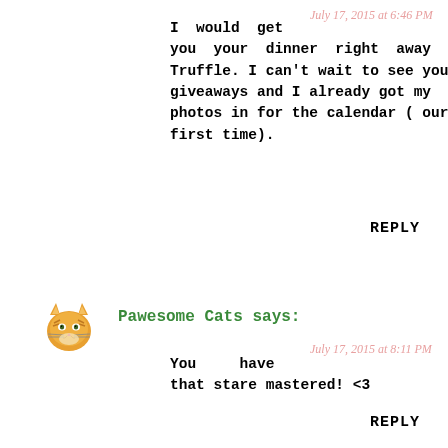July 17, 2015 at 6:46 PM
I would get you your dinner right away Truffle. I can't wait to see your giveaways and I already got my photos in for the calendar ( our first time).
REPLY
[Figure (illustration): Small pixel-art avatar of an orange/ginger cat face]
Pawesome Cats says:
July 17, 2015 at 8:11 PM
You have that stare mastered! <3
REPLY